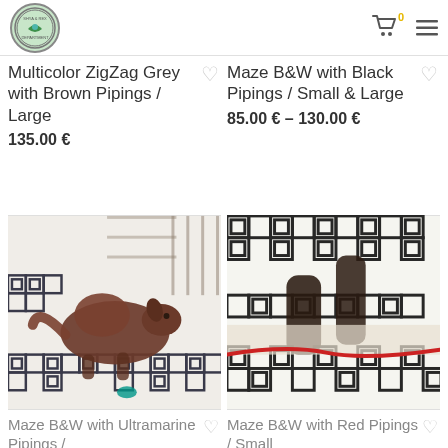Shop logo, cart icon with badge 0, hamburger menu
Multicolor ZigZag Grey with Brown Pipings / Large
135.00 €
Maze B&W with Black Pipings / Small & Large
85.00 € – 130.00 €
[Figure (photo): Dog lying on a black and white maze-patterned dog bed inside a room with a window and gate]
[Figure (photo): Close-up of dog legs on a black and white maze-patterned dog bed with a red cord/piping]
Maze B&W with Ultramarine Pipings /
Maze B&W with Red Pipings / Small